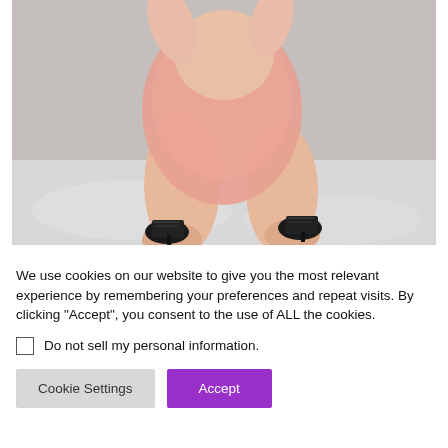[Figure (photo): A person wearing a pink lace romper and black heeled sandals, kneeling on a white bed. The photo is cropped to show the torso and legs region.]
We use cookies on our website to give you the most relevant experience by remembering your preferences and repeat visits. By clicking “Accept”, you consent to the use of ALL the cookies.
Do not sell my personal information.
Cookie Settings
Accept